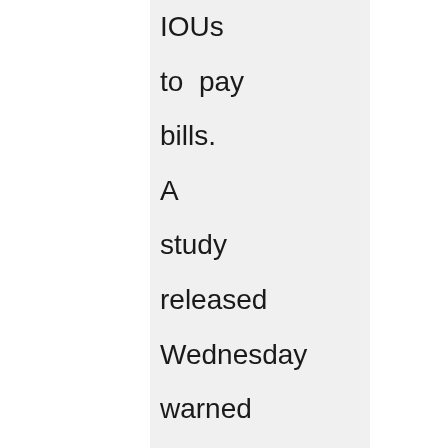IOUs to pay bills. A study released Wednesday warned that at least nine other big states are also barreling toward